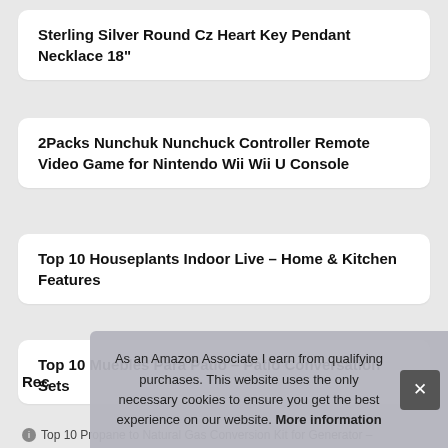Sterling Silver Round Cz Heart Key Pendant Necklace 18"
2Packs Nunchuk Nunchuck Controller Remote Video Game for Nintendo Wii Wii U Console
Top 10 Houseplants Indoor Live – Home & Kitchen Features
Top 10 Muebles Para Patio – Patio Conversation Sets
Rec
As an Amazon Associate I earn from qualifying purchases. This website uses the only necessary cookies to ensure you get the best experience on our website. More information
Top 10 Propane to Natural Gas Conversion Kit for Generator –